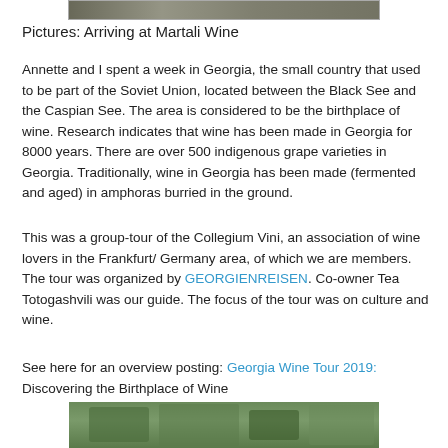[Figure (photo): Partial view of a photo at top of page (cropped), showing top edge of an image of Martali Wine location]
Pictures: Arriving at Martali Wine
Annette and I spent a week in Georgia, the small country that used to be part of the Soviet Union, located between the Black See and the Caspian See. The area is considered to be the birthplace of wine. Research indicates that wine has been made in Georgia for 8000 years. There are over 500 indigenous grape varieties in Georgia. Traditionally, wine in Georgia has been made (fermented and aged) in amphoras burried in the ground.
This was a group-tour of the Collegium Vini, an association of wine lovers in the Frankfurt/ Germany area, of which we are members. The tour was organized by GEORGIENREISEN. Co-owner Tea Totogashvili was our guide. The focus of the tour was on culture and wine.
See here for an overview posting: Georgia Wine Tour 2019: Discovering the Birthplace of Wine
[Figure (photo): Partial view of a photo at the bottom of the page showing outdoor greenery/trees, cropped at top]